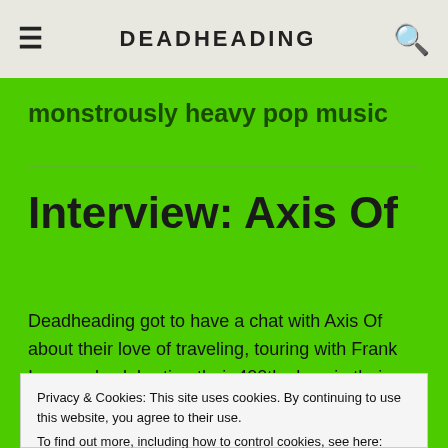DEADHEADING
monstrously heavy pop music
Interview: Axis Of
Deadheading got to have a chat with Axis Of about their love of traveling, touring with Frank Iero, and celebrating their 400th show in their hometown of Portrush, amongst
Privacy & Cookies: This site uses cookies. By continuing to use this website, you agree to their use.
To find out more, including how to control cookies, see here: Cookie Policy
Close and accept